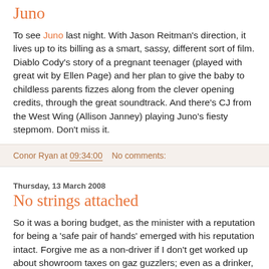Juno
To see Juno last night. With Jason Reitman's direction, it lives up to its billing as a smart, sassy, different sort of film. Diablo Cody's story of a pregnant teenager (played with great wit by Ellen Page) and her plan to give the baby to childless parents fizzes along from the clever opening credits, through the great soundtrack. And there's CJ from the West Wing (Allison Janney) playing Juno's fiesty stepmom. Don't miss it.
Conor Ryan at 09:34:00   No comments:
Thursday, 13 March 2008
No strings attached
So it was a boring budget, as the minister with a reputation for being a 'safe pair of hands' emerged with his reputation intact. Forgive me as a non-driver if I don't get worked up about showroom taxes on gaz guzzlers; even as a drinker, I